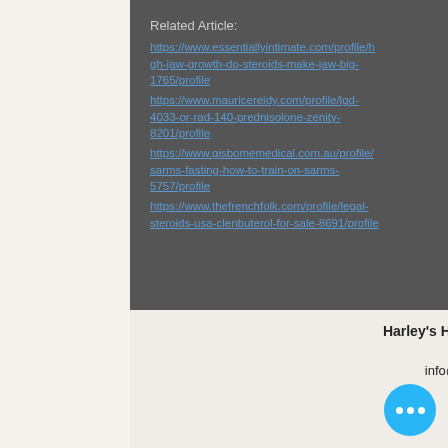Related Article:
https://www.essentiallyintimate.com/profile/high-jaw-growth-do-steroids-make-jaw-big-1765/profile
https://www.mauricereidy.com/profile/lgd-4033-or-rad-140-prednisolone-zenity-8201/profile
https://www.gisbomemedical.com.au/profile/sarms-fasting-how-to-train-on-sarms-5757/profile
https://www.thefrenchfolk.com/profile/legal-steroids-usa-clenbuterol-for-sale-8691/profile
Harley's Haven Dog Rescue, Perkasie, PA - Contact us at: info@harleyshavendogrescue.com
© 2018 by Nature Org. Proudly created with Wix.com